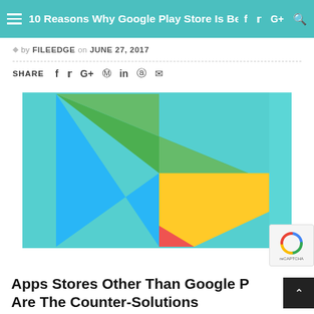10 Reasons Why Google Play Store Is Better For Your Apps
by FILEEDGE on JUNE 27, 2017
SHARE
[Figure (logo): Google Play Store logo on teal/cyan background — colorful triangular play button composed of cyan, green, yellow, and red geometric shapes]
Apps Stores Other Than Google Play Are The Counter-Solutions